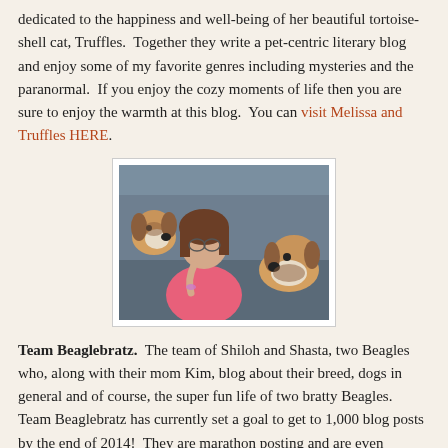dedicated to the happiness and well-being of her beautiful tortoise-shell cat, Truffles.  Together they write a pet-centric literary blog and enjoy some of my favorite genres including mysteries and the paranormal.  If you enjoy the cozy moments of life then you are sure to enjoy the warmth at this blog.  You can visit Melissa and Truffles HERE.
[Figure (photo): A young girl with glasses sitting on a couch, face to face with two beagle dogs, one on each side of her.]
Team Beaglebratz.  The team of Shiloh and Shasta, two Beagles who, along with their mom Kim, blog about their breed, dogs in general and of course, the super fun life of two bratty Beagles.  Team Beaglebratz has currently set a goal to get to 1,000 blog posts by the end of 2014!  They are marathon posting and are even accepting guest posts from other bloggers.  You can visit Shiloh, Shasta and Kim HERE.